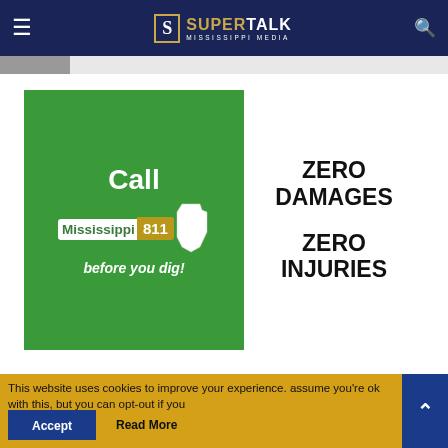SuperTalk Mississippi Media
[Figure (infographic): Mississippi 811 advertisement: green panel with 'Call Mississippi 811 before you dig!' and white panel with 'ZERO DAMAGES ZERO INJURIES']
This website uses cookies to improve your experience. assume you're ok with this, but you can opt-out if you